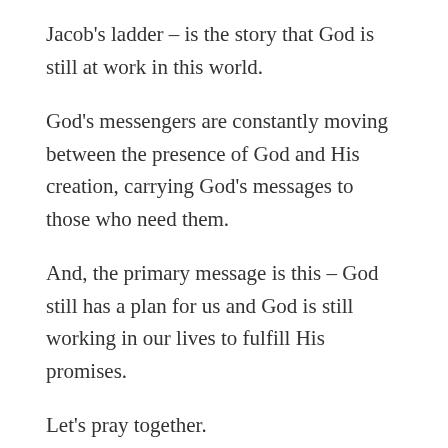Jacob's ladder – is the story that God is still at work in this world.
God's messengers are constantly moving between the presence of God and His creation, carrying God's messages to those who need them.
And, the primary message is this – God still has a plan for us and God is still working in our lives to fulfill His promises.
Let's pray together.
Share this:
[Figure (other): Social media share icons: Twitter (blue), Email (gray), Print (gray), Facebook (blue)]